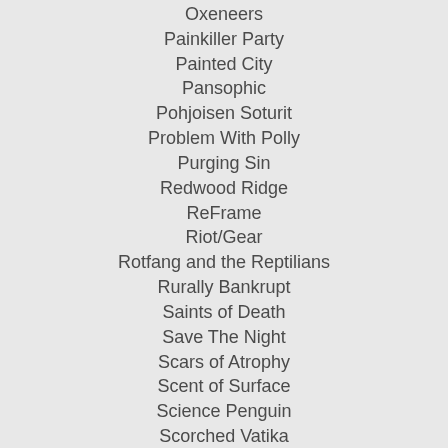Oxeneers
Painkiller Party
Painted City
Pansophic
Pohjoisen Soturit
Problem With Polly
Purging Sin
Redwood Ridge
ReFrame
Riot/Gear
Rotfang and the Reptilians
Rurally Bankrupt
Saints of Death
Save The Night
Scars of Atrophy
Scent of Surface
Science Penguin
Scorched Vatika
Seven Second Circle
Seven40Seven
Shadow Valley